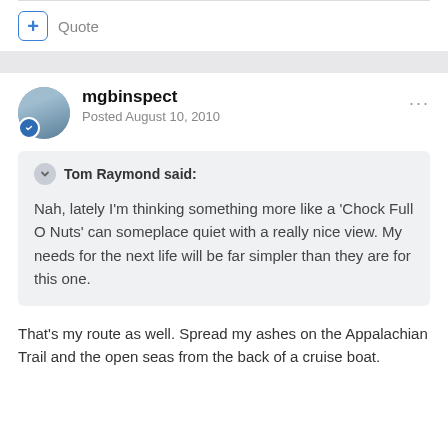+ Quote
mgbinspect
Posted August 10, 2010
Tom Raymond said:
Nah, lately I'm thinking something more like a 'Chock Full O Nuts' can someplace quiet with a really nice view. My needs for the next life will be far simpler than they are for this one.
That's my route as well. Spread my ashes on the Appalachian Trail and the open seas from the back of a cruise boat.